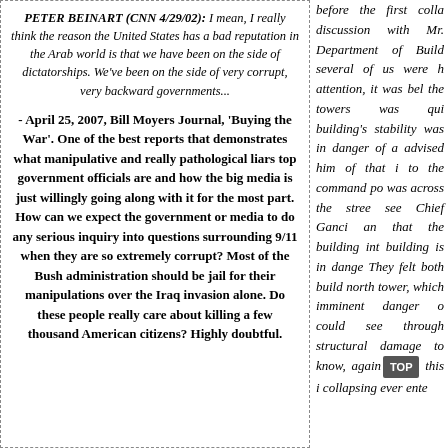PETER BEINART (CNN 4/29/02): I mean, I really think the reason the United States has a bad reputation in the Arab world is that we have been on the side of dictatorships. We've been on the side of very corrupt, very backward governments...
- April 25, 2007, Bill Moyers Journal, 'Buying the War'. One of the best reports that demonstrates what manipulative and really pathological liars top government officials are and how the big media is just willingly going along with it for the most part. How can we expect the government or media to do any serious inquiry into questions surrounding 9/11 when they are so extremely corrupt? Most of the Bush administration should be jail for their manipulations over the Iraq invasion alone. Do these people really care about killing a few thousand American citizens? Highly doubtful.
before the first colla discussion with Mr. Department of Build several of us were h attention, it was bel the towers was qui building's stability was in danger of a advised him of that i to the command po was across the stree see Chief Ganci an that the building int building is in dange They felt both build north tower, which imminent danger o could see through structural damage to know, again this i collapsing ever ente
4 December 3, 2001